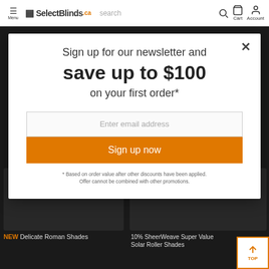Menu | SelectBlinds.ca | search | Cart | Account
Sign up for our newsletter and save up to $100 on your first order*
Enter email address
Sign up now
* Based on order value after other discounts have been applied. Offer cannot be combined with other promotions.
NEW Delicate Roman Shades
10% SheerWeave Super Value Solar Roller Shades